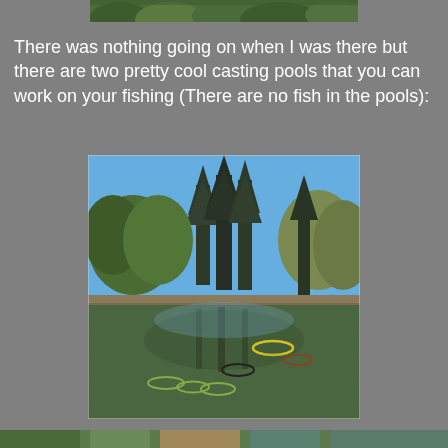[Figure (photo): Partial top edge of a photo showing green foliage/plants from above]
There was nothing going on when I was there but there are two pretty cool casting pools that you can work on your fishing (There are no fish in the pools):
[Figure (photo): A fishing casting pool surrounded by tall conifer trees and mixed forest under a clear blue sky. Circular casting targets (rings) are floating on the green reflective water surface.]
[Figure (photo): Partial bottom strip of another photo]